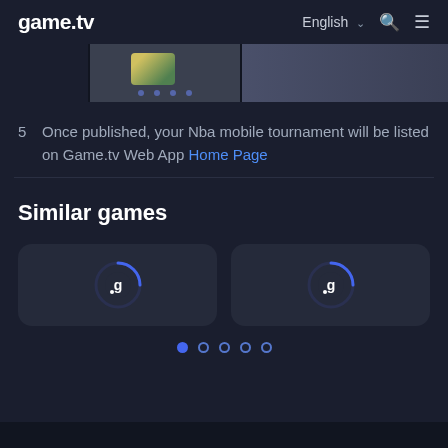game.tv   English   [search] [menu]
[Figure (screenshot): Partial banner image strip showing game screenshots with navigation dots]
5  Once published, your Nba mobile tournament will be listed on Game.tv Web App Home Page
Similar games
[Figure (screenshot): Two game card placeholders with game.tv spinner logos loading, with carousel pagination dots below (5 dots, first active)]